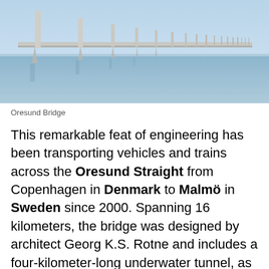[Figure (photo): Photograph of the Oresund Bridge spanning calm blue water, with concrete pylons and bridge deck receding into the distance.]
Oresund Bridge
This remarkable feat of engineering has been transporting vehicles and trains across the Oresund Straight from Copenhagen in Denmark to Malmö in Sweden since 2000. Spanning 16 kilometers, the bridge was designed by architect Georg K.S. Rotne and includes a four-kilometer-long underwater tunnel, as well as a man-made island named Peberholmen. It has become even more famous due to its prominence on a popular Nordic television show called The Bridge.